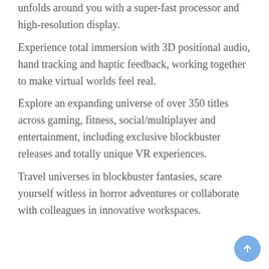unfolds around you with a super-fast processor and high-resolution display. Experience total immersion with 3D positional audio, hand tracking and haptic feedback, working together to make virtual worlds feel real. Explore an expanding universe of over 350 titles across gaming, fitness, social/multiplayer and entertainment, including exclusive blockbuster releases and totally unique VR experiences. Travel universes in blockbuster fantasies, scare yourself witless in horror adventures or collaborate with colleagues in innovative workspaces.